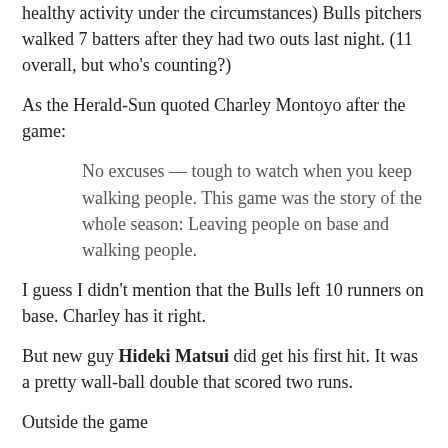healthy activity under the circumstances) Bulls pitchers walked 7 batters after they had two outs last night. (11 overall, but who's counting?)
As the Herald-Sun quoted Charley Montoyo after the game:
No excuses — tough to watch when you keep walking people. This game was the story of the whole season: Leaving people on base and walking people.
I guess I didn't mention that the Bulls left 10 runners on base. Charley has it right.
But new guy Hideki Matsui did get his first hit. It was a pretty wall-ball double that scored two runs.
Outside the game
It becomes more clear why Kyle Hudson was shipped off to Hudson Valley yesterday. Sometime in the past few days recently called-up Brandon Guyer was injured. Showing (what's